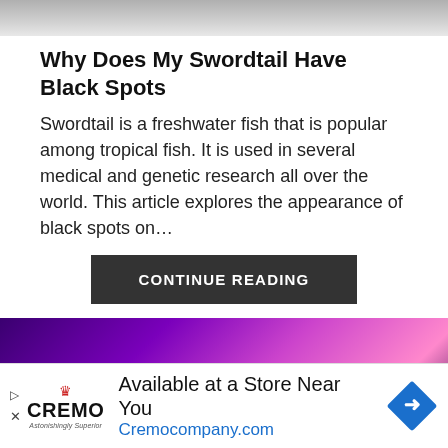[Figure (photo): Top portion of a fish or aquatic animal photo, mostly gray tones, cropped.]
Why Does My Swordtail Have Black Spots
Swordtail is a freshwater fish that is popular among tropical fish. It is used in several medical and genetic research all over the world. This article explores the appearance of black spots on…
CONTINUE READING
[Figure (photo): Close-up photo of an aquatic organism with purple, pink, and magenta hues under violet lighting.]
[Figure (other): Advertisement banner: Cremo brand ad. Text reads 'Available at a Store Near You' and 'Cremocompany.com' with Cremo logo and blue diamond icon.]